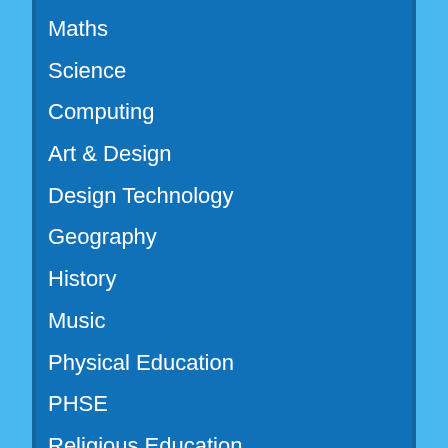Maths
Science
Computing
Art & Design
Design Technology
Geography
History
Music
Physical Education
PHSE
Religious Education
Careers Education
Secondary Pathway 1: KS3 Careers Education & Guidance